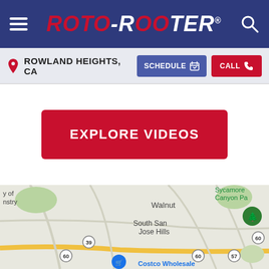ROTO-ROOTER
ROWLAND HEIGHTS, CA
SCHEDULE
CALL
EXPLORE VIDEOS
[Figure (map): Google Maps view showing Rowland Heights, CA area including South San Jose Hills, Walnut, Costco Wholesale, Sycamore Canyon Pa, route 39, route 60, route 57 markers, and a green location pin]